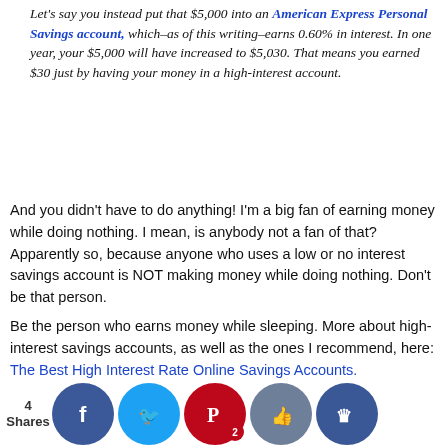Let's say you instead put that $5,000 into an American Express Personal Savings account, which–as of this writing–earns 0.60% in interest. In one year, your $5,000 will have increased to $5,030. That means you earned $30 just by having your money in a high-interest account.
And you didn't have to do anything! I'm a big fan of earning money while doing nothing. I mean, is anybody not a fan of that? Apparently so, because anyone who uses a low or no interest savings account is NOT making money while doing nothing. Don't be that person.
Be the person who earns money while sleeping. More about high-interest savings accounts, as well as the ones I recommend, here: The Best High Interest Rate Online Savings Accounts.
Yes, We Only Paid $28.03 for Cell Phone vice (two ones)
[Figure (other): Social share bar with count '4 Shares' and icons for Facebook, Twitter, Pinterest (badge 2), thumbs-up, and crown]